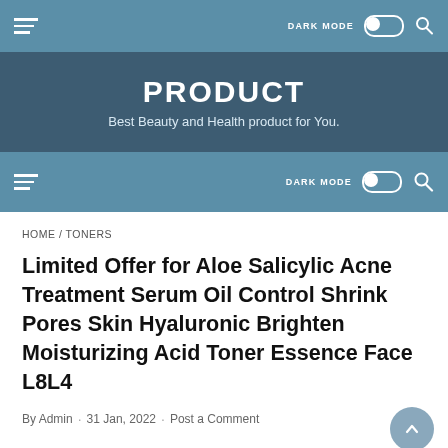DARK MODE [toggle] [search]
PRODUCT
Best Beauty and Health product for You.
DARK MODE [toggle] [search]
HOME / TONERS
Limited Offer for Aloe Salicylic Acne Treatment Serum Oil Control Shrink Pores Skin Hyaluronic Brighten Moisturizing Acid Toner Essence Face L8L4
By Admin · 31 Jan, 2022 · Post a Comment